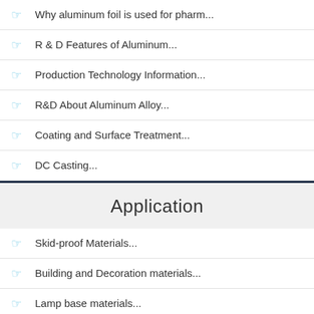Why aluminum foil is used for pharm...
R & D Features of Aluminum...
Production Technology Information...
R&D About Aluminum Alloy...
Coating and Surface Treatment...
DC Casting...
Application
Skid-proof Materials...
Building and Decoration materials...
Lamp base materials...
PS base plate...
Medicinal aluminum foil...